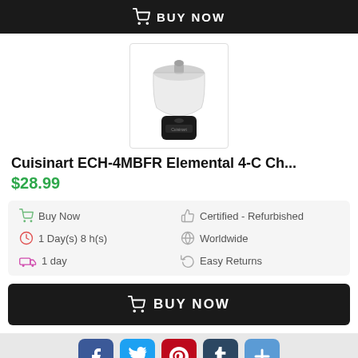[Figure (other): Black Buy Now button bar with shopping cart icon at top of page]
[Figure (photo): Cuisinart ECH-4MBFR small black food chopper/mini prep processor product photo on white background]
Cuisinart ECH-4MBFR Elemental 4-C Ch...
$28.99
| Buy Now | Certified - Refurbished |
| 1 Day(s) 8 h(s) | Worldwide |
| 1 day | Easy Returns |
[Figure (other): Black Buy Now button bar with shopping cart icon at bottom of product listing]
[Figure (other): Social sharing buttons bar: Facebook, Twitter, Pinterest, Tumblr, and a plus/more button]